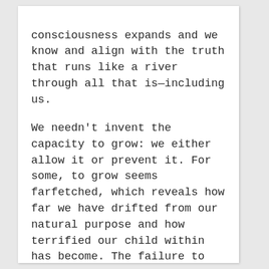consciousness expands and we know and align with the truth that runs like a river through all that is—including us.

We needn't invent the capacity to grow: we either allow it or prevent it. For some, to grow seems farfetched, which reveals how far we have drifted from our natural purpose and how terrified our child within has become. The failure to grow depicts the power of convention and highlights the overt or hidden pressure exerted on us by our